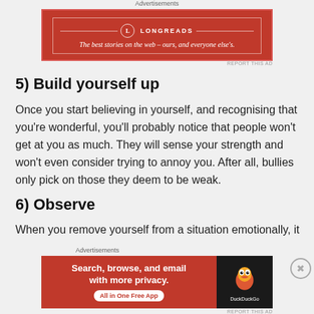[Figure (other): Longreads advertisement banner: red background with white border, circle logo, tagline 'The best stories on the web — ours, and everyone else's.']
5) Build yourself up
Once you start believing in yourself, and recognising that you're wonderful, you'll probably notice that people won't get at you as much. They will sense your strength and won't even consider trying to annoy you. After all, bullies only pick on those they deem to be weak.
6) Observe
When you remove yourself from a situation emotionally, it
[Figure (other): DuckDuckGo advertisement banner: red background with white text 'Search, browse, and email with more privacy. All in One Free App' and DuckDuckGo logo on dark background.]